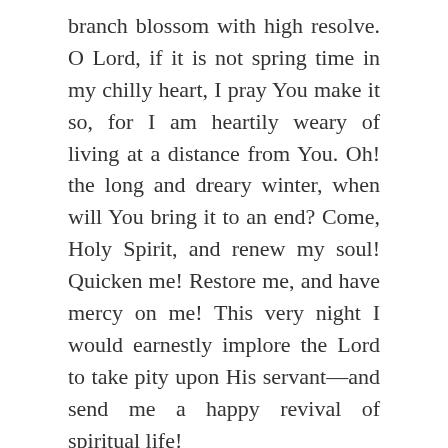branch blossom with high resolve. O Lord, if it is not spring time in my chilly heart, I pray You make it so, for I am heartily weary of living at a distance from You. Oh! the long and dreary winter, when will You bring it to an end? Come, Holy Spirit, and renew my soul! Quicken me! Restore me, and have mercy on me! This very night I would earnestly implore the Lord to take pity upon His servant—and send me a happy revival of spiritual life!
Share this:
Email   Facebook   Twitter   Pinterest
Like
One blogger likes this.